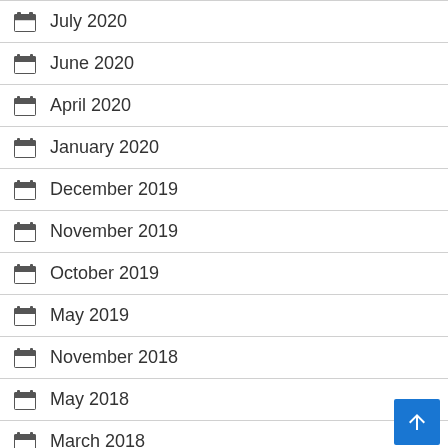July 2020
June 2020
April 2020
January 2020
December 2019
November 2019
October 2019
May 2019
November 2018
May 2018
March 2018
January 2018
July 2017